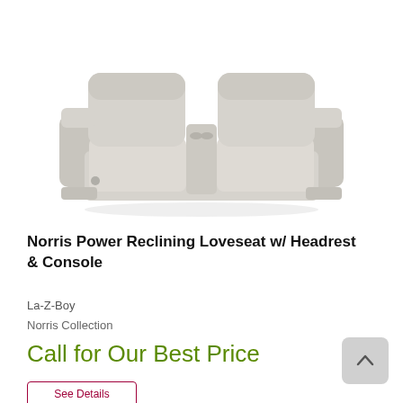[Figure (photo): La-Z-Boy Norris Power Reclining Loveseat with headrest and console — light gray leather two-seat recliner with center console and cup holders, viewed from a front-angle]
Norris Power Reclining Loveseat w/ Headrest & Console
La-Z-Boy
Norris Collection
Call for Our Best Price
See Details